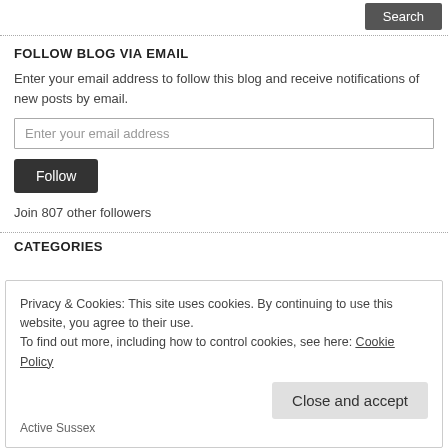[Figure (screenshot): Search button row at top]
FOLLOW BLOG VIA EMAIL
Enter your email address to follow this blog and receive notifications of new posts by email.
Enter your email address (input field)
Follow (button)
Join 807 other followers
CATEGORIES
Privacy & Cookies: This site uses cookies. By continuing to use this website, you agree to their use.
To find out more, including how to control cookies, see here: Cookie Policy
Close and accept (button)
Active Sussex